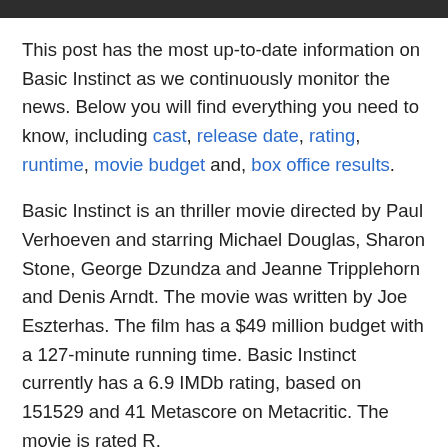This post has the most up-to-date information on Basic Instinct as we continuously monitor the news. Below you will find everything you need to know, including cast, release date, rating, runtime, movie budget and, box office results.
Basic Instinct is an thriller movie directed by Paul Verhoeven and starring Michael Douglas, Sharon Stone, George Dzundza and Jeanne Tripplehorn and Denis Arndt. The movie was written by Joe Eszterhas. The film has a $49 million budget with a 127-minute running time. Basic Instinct currently has a 6.9 IMDb rating, based on 151529 and 41 Metascore on Metacritic. The movie is rated R.